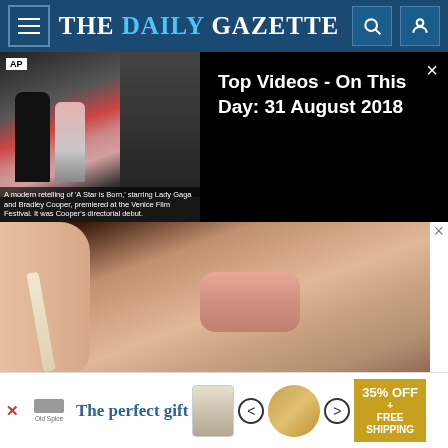THE DAILY GAZETTE
[Figure (screenshot): Video thumbnail showing AP news clip with people in formal wear at a film premiere, with caption about 'A Star is Born' starring Lady Gaga and Bradley Cooper at Venice Film Festival.]
Top Videos - On This Day: 31 August 2018
[Figure (photo): Close-up photo of a woman's face focusing on lips and lower face, used for mole/skin tag article thumbnail.]
Do This Immediately if You Have Moles or Skin Tags, It's Genius
[Figure (photo): Close-up photo of glazed meatballs or similar food with red/brown sauce and garnish.]
[Figure (infographic): Advertisement banner: 'The perfect gift' with arrows, cup image, bowl image, and '35% OFF + FREE SHIPPING' promotional text in gold.]